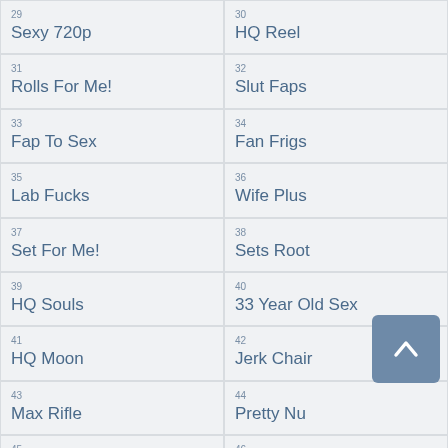| # | Name |
| --- | --- |
| 29 | Sexy 720p |
| 30 | HQ Reel |
| 31 | Rolls For Me! |
| 32 | Slut Faps |
| 33 | Fap To Sex |
| 34 | Fan Frigs |
| 35 | Lab Fucks |
| 36 | Wife Plus |
| 37 | Set For Me! |
| 38 | Sets Root |
| 39 | HQ Souls |
| 40 | 33 Year Old Sex |
| 41 | HQ Moon |
| 42 | Jerk Chair |
| 43 | Max Rifle |
| 44 | Pretty Nu |
| 45 |  |
| 46 |  |